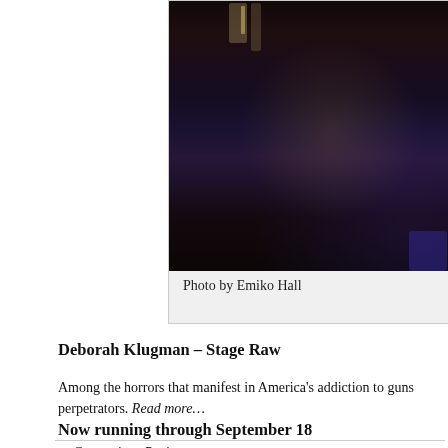[Figure (photo): Stage photo showing a dark theatrical stage with microphone stands and dramatic lighting, purple and warm tones.]
Photo by Emiko Hall
Deborah Klugman – Stage Raw
Among the horrors that manifest in America's addiction to guns perpetrators. Read more…
Now running through September 18
≡  Categories : Reviews